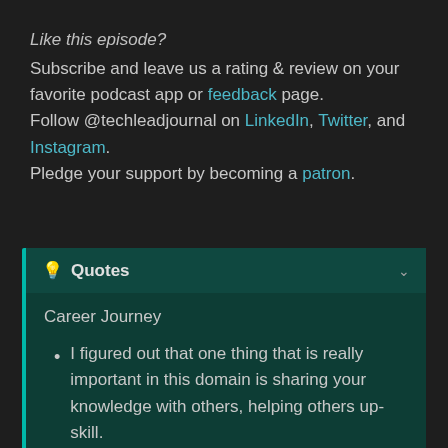Like this episode? Subscribe and leave us a rating & review on your favorite podcast app or feedback page. Follow @techleadjournal on LinkedIn, Twitter, and Instagram. Pledge your support by becoming a patron.
Quotes
Career Journey
I figured out that one thing that is really important in this domain is sharing your knowledge with others, helping others up-skill.